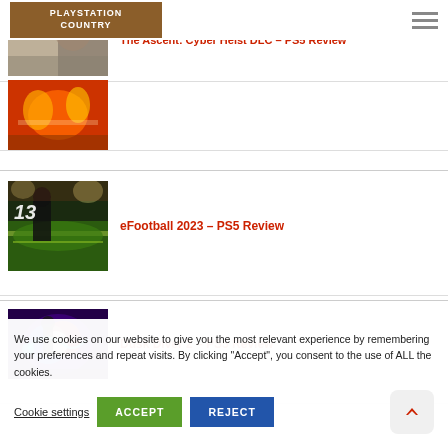PLAYSTATION COUNTRY
The Ascent: Cyber Heist DLC – PS5 Review
[Figure (photo): Dark game screenshot thumbnail]
eFootball 2023 – PS5 Review
[Figure (photo): Football/soccer game screenshot with player number 13]
Dusk Diver 2 – PS5 Review
[Figure (photo): Colorful action game screenshot with energy effects]
We use cookies on our website to give you the most relevant experience by remembering your preferences and repeat visits. By clicking "Accept", you consent to the use of ALL the cookies.
Cookie settings
ACCEPT
REJECT